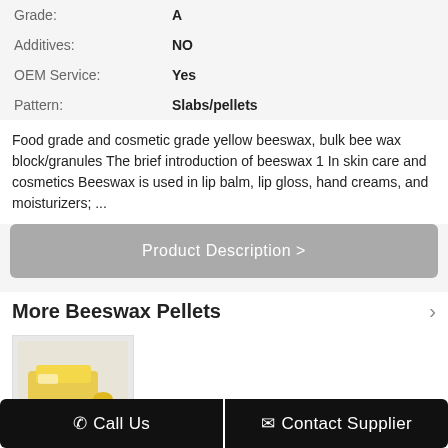| Property | Value |
| --- | --- |
| Grade: | A |
| Additives: | NO |
| OEM Service: | Yes |
| Pattern: | Slabs/pellets |
Food grade and cosmetic grade yellow beeswax, bulk bee wax block/granules The brief introduction of beeswax 1 In skin care and cosmetics Beeswax is used in lip balm, lip gloss, hand creams, and moisturizers; ...
Product Description >
More Beeswax Pellets
[Figure (photo): Image of beeswax pellets/slabs product]
Pure Beeswax Pellets/Beads/Pastilles/Granules, bees wax for cosmetic, soap, lip balm
Change Language
Call Us
Contact Supplier